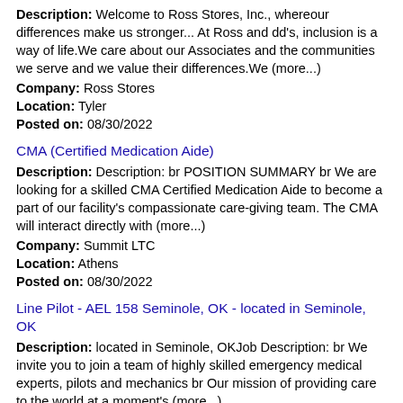Description: Welcome to Ross Stores, Inc., whereour differences make us stronger... At Ross and dd's, inclusion is a way of life.We care about our Associates and the communities we serve and we value their differences.We (more...)
Company: Ross Stores
Location: Tyler
Posted on: 08/30/2022
CMA (Certified Medication Aide)
Description: Description: br POSITION SUMMARY br We are looking for a skilled CMA Certified Medication Aide to become a part of our facility's compassionate care-giving team. The CMA will interact directly with (more...)
Company: Summit LTC
Location: Athens
Posted on: 08/30/2022
Line Pilot - AEL 158 Seminole, OK - located in Seminole, OK
Description: located in Seminole, OKJob Description: br We invite you to join a team of highly skilled emergency medical experts, pilots and mechanics br Our mission of providing care to the world at a moment's (more...)
Company: Air Evac Lifeteam